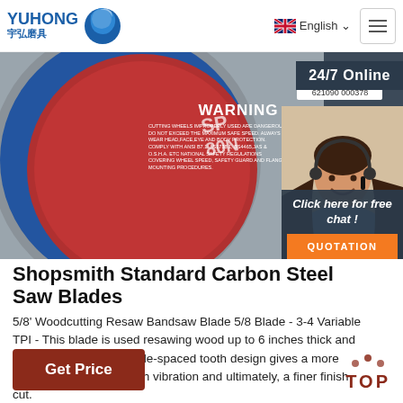YUHONG 宇弘磨具 | English | Menu
[Figure (photo): Close-up of a red and blue grinding/cutting wheel with a WARNING label and barcode. A customer service representative with headset is shown on the right side.]
Shopsmith Standard Carbon Steel Saw Blades
5/8' Woodcutting Resaw Bandsaw Blade 5/8 Blade - 3-4 Variable TPI - This blade is used resawing wood up to 6 inches thick and straight cuts only. Variable-spaced tooth design gives a more aggressive cut, less tooth vibration and ultimately, a finer finish cut.
Get Price
24/7 Online
Click here for free chat !
QUOTATION
TOP